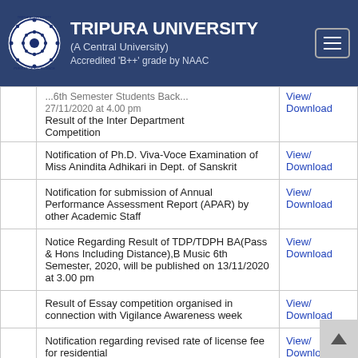TRIPURA UNIVERSITY (A Central University) Accredited 'B++' grade by NAAC
|  | Description | Link |
| --- | --- | --- |
|  | ...6th Semester Students Back...27/11/2020 at 4.00 pm
Result of the Inter Department Competition | View/
Download |
|  | Notification of Ph.D. Viva-Voce Examination of Miss Anindita Adhikari in Dept. of Sanskrit | View/
Download |
|  | Notification for submission of Annual Performance Assessment Report (APAR) by other Academic Staff | View/
Download |
|  | Notice Regarding Result of TDP/TDPH BA(Pass & Hons Including Distance),B Music 6th Semester, 2020, will be published on 13/11/2020 at 3.00 pm | View/
Download |
|  | Result of Essay competition organised in connection with Vigilance Awareness week | View/
Download |
|  | Notification regarding revised rate of license fee for residential | View/
Download |